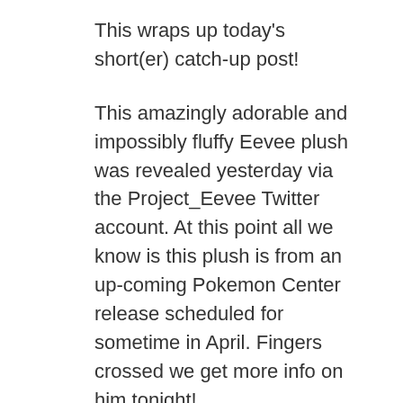This wraps up today's short(er) catch-up post!
This amazingly adorable and impossibly fluffy Eevee plush was revealed yesterday via the Project_Eevee Twitter account. At this point all we know is this plush is from an up-coming Pokemon Center release scheduled for sometime in April. Fingers crossed we get more info on him tonight!
Until next time~